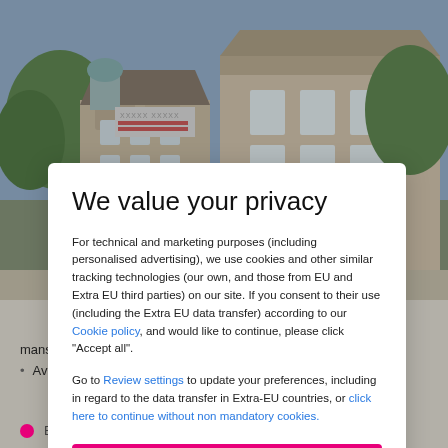[Figure (photo): Background photo of Victorian-style residential mansion buildings with trees, partially visible behind a privacy consent modal overlay]
We value your privacy
For technical and marketing purposes (including personalised advertising), we use cookies and other similar tracking technologies (our own, and those from EU and Extra EU third parties) on our site. If you consent to their use (including the Extra EU data transfer) according to our Cookie policy, and would like to continue, please click "Accept all".
Go to Review settings to update your preferences, including in regard to the data transfer in Extra-EU countries, or click here to continue without non mandatory cookies.
ACCEPT ALL
mansion too
Available seven days a week throughout the year
Buckinghamshire - Milton Keynes  show on map